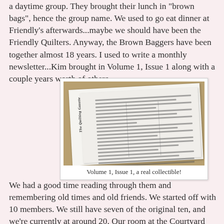a daytime group. They brought their lunch in 'brown bags', hence the group name. We used to go eat dinner at Friendly's afterwards...maybe we should have been the Friendly Quilters. Anyway, the Brown Baggers have been together almost 18 years. I used to write a monthly newsletter...Kim brought in Volume 1, Issue 1 along with a couple years worth of others.
[Figure (photo): A photograph of a newsletter titled 'The Quilting Gazette', Volume 1 Issue 1, lying open on a wooden surface, slightly angled.]
Volume 1, Issue 1, a real collectible!
We had a good time reading through them and remembering old times and old friends. We started off with 10 members. We still have seven of the original ten, and we're currently at around 20. Our room at the Courtyard only holds 16, but luckily we never